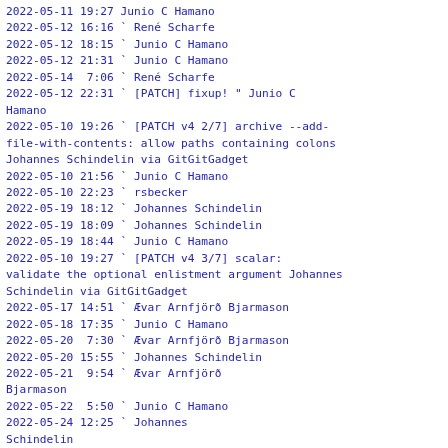2022-05-11 19:27                         Junio C Hamano
2022-05-12 16:16                           ` René Scharfe
2022-05-12 18:15                             ` Junio C Hamano
2022-05-12 21:31                               ` Junio C Hamano
2022-05-14  7:06                                 ` René Scharfe
2022-05-12 22:31                     ` [PATCH] fixup! " Junio C
Hamano
2022-05-10 19:26             ` [PATCH v4 2/7] archive --add-file-with-contents: allow paths containing colons
Johannes Schindelin via GitGitGadget
2022-05-10 21:56                       ` Junio C Hamano
2022-05-10 22:23                       ` rsbecker
2022-05-19 18:12                         ` Johannes Schindelin
2022-05-19 18:09                       ` Johannes Schindelin
2022-05-19 18:44                         ` Junio C Hamano
2022-05-10 19:27             ` [PATCH v4 3/7] scalar: validate the optional enlistment argument Johannes
Schindelin via GitGitGadget
2022-05-17 14:51                       ` Ævar Arnfjörð Bjarmason
2022-05-18 17:35                     ` Junio C Hamano
2022-05-20  7:30                         ` Ævar Arnfjörð Bjarmason
2022-05-20 15:55                           ` Johannes Schindelin
2022-05-21  9:54                             ` Ævar Arnfjörð
Bjarmason
2022-05-22  5:50                               ` Junio C Hamano
2022-05-24 12:25                               ` Johannes
Schindelin
2022-05-24 18:11                                 ` Ævar Arnfjörð
Bjarmason
2022-05-24 19:29                                   ` Junio C
Hamano